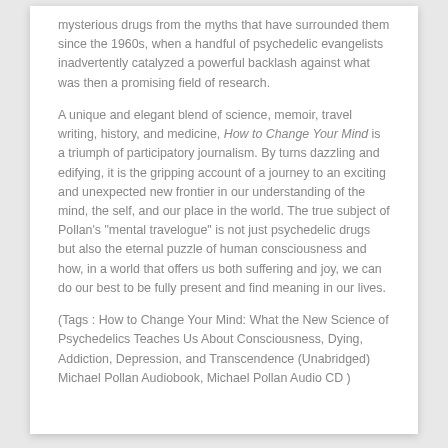mysterious drugs from the myths that have surrounded them since the 1960s, when a handful of psychedelic evangelists inadvertently catalyzed a powerful backlash against what was then a promising field of research.
A unique and elegant blend of science, memoir, travel writing, history, and medicine, How to Change Your Mind is a triumph of participatory journalism. By turns dazzling and edifying, it is the gripping account of a journey to an exciting and unexpected new frontier in our understanding of the mind, the self, and our place in the world. The true subject of Pollan's "mental travelogue" is not just psychedelic drugs but also the eternal puzzle of human consciousness and how, in a world that offers us both suffering and joy, we can do our best to be fully present and find meaning in our lives.
(Tags : How to Change Your Mind: What the New Science of Psychedelics Teaches Us About Consciousness, Dying, Addiction, Depression, and Transcendence (Unabridged) Michael Pollan Audiobook, Michael Pollan Audio CD )